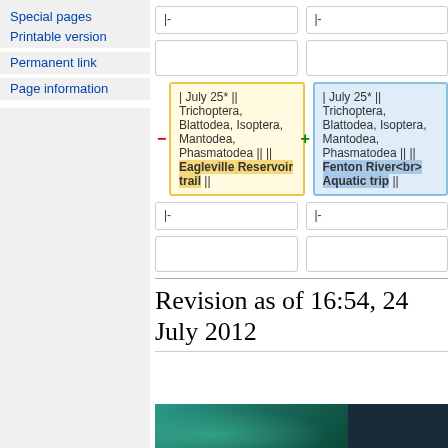Special pages
Printable version
Permanent link
Page information
|-
|-
(empty cells)
| July 25* || Trichoptera, Blattodea, Isoptera, Mantodea, Phasmatodea || || Eagleville Reservoir trail ||
| July 25* || Trichoptera, Blattodea, Isoptera, Mantodea, Phasmatodea || || Fenton River<br> Aquatic trip ||
|-
|-
(empty cells)
Revision as of 16:54, 24 July 2012
[Figure (photo): Aquatic/underwater scene with teal and dark tones at the bottom of the page]